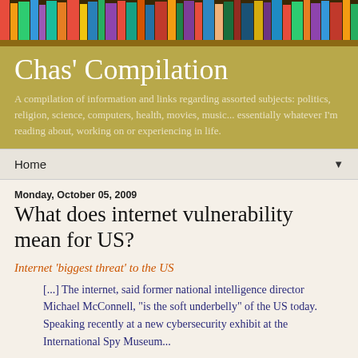[Figure (photo): Header image of colorful book spines on a bookshelf]
Chas' Compilation
A compilation of information and links regarding assorted subjects: politics, religion, science, computers, health, movies, music... essentially whatever I'm reading about, working on or experiencing in life.
Home ▼
Monday, October 05, 2009
What does internet vulnerability mean for US?
Internet 'biggest threat' to the US
[...] The internet, said former national intelligence director Michael McConnell, "is the soft underbelly" of the US today. Speaking recently at a new cybersecurity exhibit at the International Spy Museum...